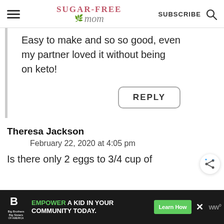Sugar-Free Mom | SUBSCRIBE
Easy to make and so so good, even my partner loved it without being on keto!
REPLY
Theresa Jackson
February 22, 2020 at 4:05 pm
Is there only 2 eggs to 3/4 cup of
[Figure (infographic): Big Brothers Big Sisters advertisement banner: 'Empower a kid in your community today. Learn How']